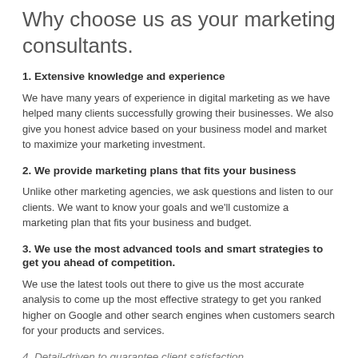Why choose us as your marketing consultants.
1. Extensive knowledge and experience
We have many years of experience in digital marketing as we have helped many clients successfully growing their businesses. We also give you honest advice based on your business model and market to maximize your marketing investment.
2. We provide marketing plans that fits your business
Unlike other marketing agencies, we ask questions and listen to our clients. We want to know your goals and we'll customize a marketing plan that fits your business and budget.
3. We use the most advanced tools and smart strategies to get you ahead of competition.
We use the latest tools out there to give us the most accurate analysis to come up the most effective strategy to get you ranked higher on Google and other search engines when customers search for your products and services.
4. Detail-driven to guarantee client satisfaction.